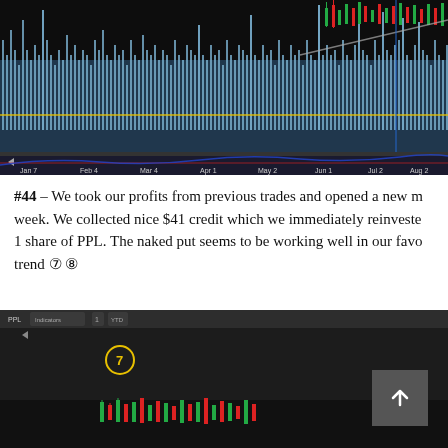[Figure (screenshot): Trading chart screenshot showing candlestick price data with volume bars on a dark background. X-axis shows dates from Jan 7 through Sep 5. Blue volume bars fill the lower portion, with a yellow horizontal line. A smaller indicator panel is visible below the main chart.]
#44 – We took our profits from previous trades and opened a new move this week. We collected nice $41 credit which we immediately reinvested into 1 share of PPL. The naked put seems to be working well in our favor with the trend ⑦ ⑧
[Figure (screenshot): Dark trading platform interface screenshot showing chart with circled number 7 annotation in yellow, with candlestick chart visible at the bottom portion. A scroll-to-top button is visible in the lower right corner.]